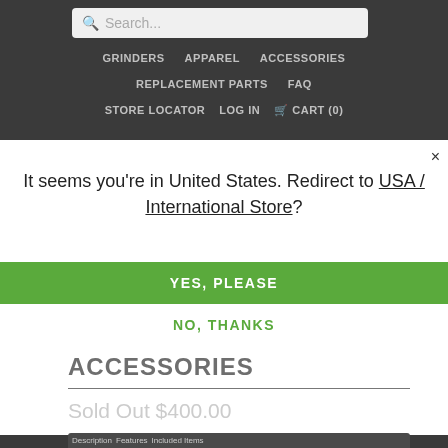[Figure (screenshot): Website navigation header with dark background showing search bar, and nav links: GRINDERS, APPAREL, ACCESSORIES, REPLACEMENT PARTS, FAQ, STORE LOCATOR, LOG IN, CART (0)]
It seems you're in United States. Redirect to USA / International Store?
YES, PLEASE
NO, THANKS
ACCESSORIES
Sold Out $400.00
Description   Features   Included Items